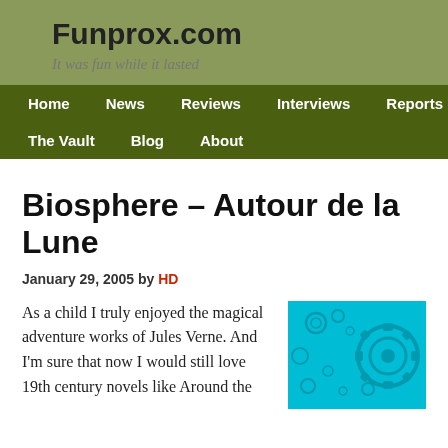Funprox.com
It was fun while it lasted
Home  News  Reviews  Interviews  Reports  The Vault  Blog  About
Biosphere – Autour de la Lune
January 29, 2005 by HD
As a child I truly enjoyed the magical adventure works of Jules Verne. And I'm sure that now I would still love 19th century novels like Around the
[Figure (illustration): Teal/cyan background with mechanical gear and circular bubble shapes illustration]